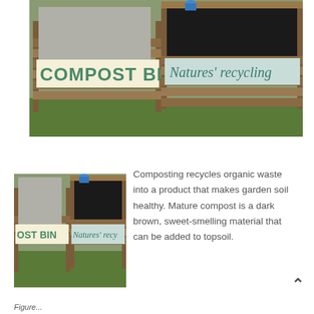[Figure (photo): Photo of wooden compost bins with painted signs reading 'COMPOST BIN' and 'Natures' recycling', set outdoors on grass]
[Figure (photo): Smaller version of the same compost bin photo showing partial signs 'OST BIN' and 'Natures' recy']
Composting recycles organic waste into a product that makes garden soil healthy. Mature compost is a dark brown, sweet-smelling material that can be added to topsoil.
Figure...